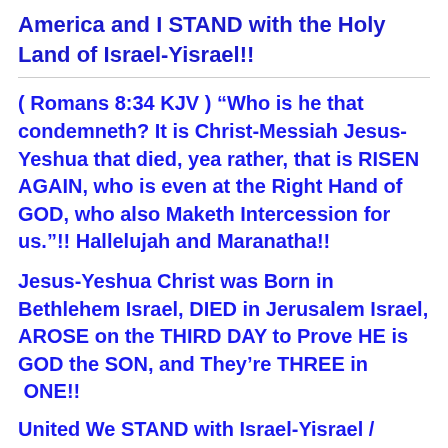America and I STAND with the Holy Land of Israel-Yisrael!!
( Romans 8:34 KJV ) “Who is he that condemneth? It is Christ-Messiah Jesus-Yeshua that died, yea rather, that is RISEN AGAIN, who is even at the Right Hand of GOD, who also Maketh Intercession for us.”!! Hallelujah and Maranatha!!
Jesus-Yeshua Christ was Born in Bethlehem Israel, DIED in Jerusalem Israel, AROSE on the THIRD DAY to Prove HE is GOD the SON, and They’re THREE in ONE!!
United We STAND with Israel-Yisrael / Christian